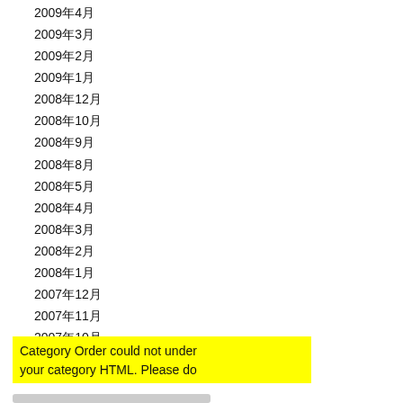2009年4月
2009年3月
2009年2月
2009年1月
2008年12月
2008年10月
2008年9月
2008年8月
2008年5月
2008年4月
2008年3月
2008年2月
2008年1月
2007年12月
2007年11月
2007年10月
2007年9月
Category Order could not under
your category HTML. Please do